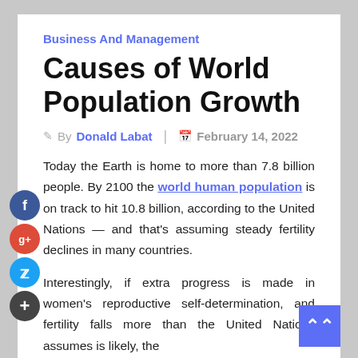Business And Management
Causes of World Population Growth
By Donald Labat | February 14, 2022
Today the Earth is home to more than 7.8 billion people. By 2100 the world human population is on track to hit 10.8 billion, according to the United Nations — and that's assuming steady fertility declines in many countries.
Interestingly, if extra progress is made in women's reproductive self-determination, and fertility falls more than the United Nations assumes is likely, the